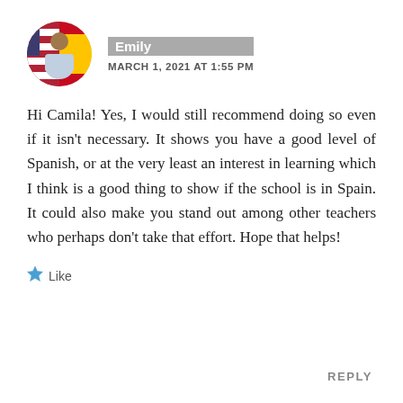[Figure (photo): Circular avatar photo of a person in front of flags (American and Spanish flags visible)]
Emily
MARCH 1, 2021 AT 1:55 PM
Hi Camila! Yes, I would still recommend doing so even if it isn't necessary. It shows you have a good level of Spanish, or at the very least an interest in learning which I think is a good thing to show if the school is in Spain. It could also make you stand out among other teachers who perhaps don't take that effort. Hope that helps!
Like
REPLY